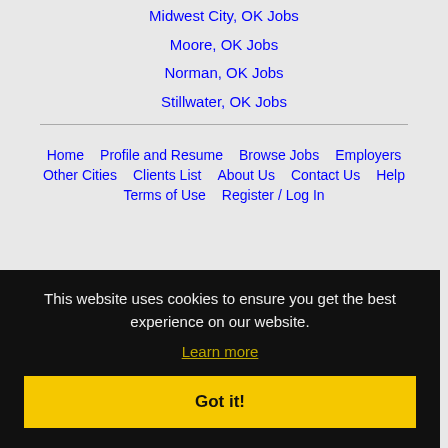Midwest City, OK Jobs
Moore, OK Jobs
Norman, OK Jobs
Stillwater, OK Jobs
Home | Profile and Resume | Browse Jobs | Employers | Other Cities | Clients List | About Us | Contact Us | Help | Terms of Use | Register / Log In
This website uses cookies to ensure you get the best experience on our website.
Learn more
Got it!